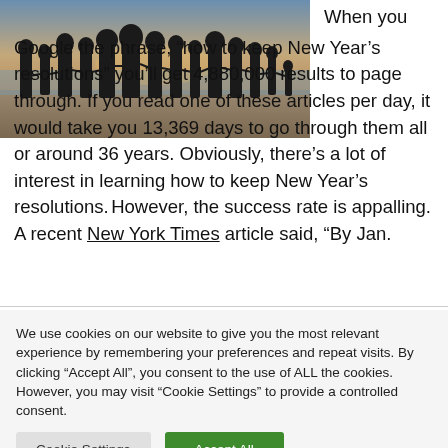[Figure (photo): Silhouette of a group of people (families) standing together on a beach at sunset]
When you Google the phrase, “how to keep New Year’s resolutions” you’ll get 4,880,000 results to page through. If you read one of these articles per day, it would take you 13,369 days to go through them all or around 36 years. Obviously, there’s a lot of interest in learning how to keep New Year’s resolutions. However, the success rate is appalling. A recent New York Times article said, “By Jan.
We use cookies on our website to give you the most relevant experience by remembering your preferences and repeat visits. By clicking “Accept All”, you consent to the use of ALL the cookies. However, you may visit “Cookie Settings” to provide a controlled consent.